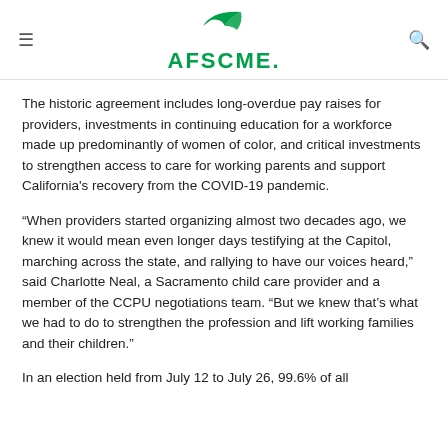AFSCME
The historic agreement includes long-overdue pay raises for providers, investments in continuing education for a workforce made up predominantly of women of color, and critical investments to strengthen access to care for working parents and support California's recovery from the COVID-19 pandemic.
“When providers started organizing almost two decades ago, we knew it would mean even longer days testifying at the Capitol, marching across the state, and rallying to have our voices heard,” said Charlotte Neal, a Sacramento child care provider and a member of the CCPU negotiations team. “But we knew that’s what we had to do to strengthen the profession and lift working families and their children.”
In an election held from July 12 to July 26, 99.6% of all